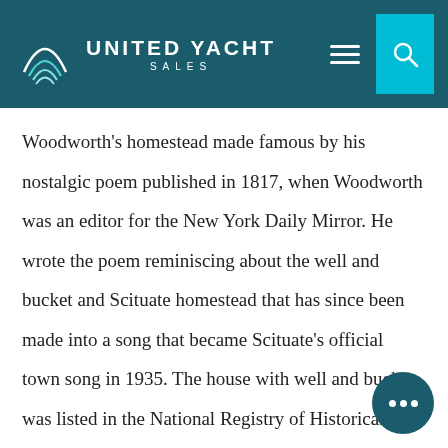UNITED YACHT SALES
Woodworth's homestead made famous by his nostalgic poem published in 1817, when Woodworth was an editor for the New York Daily Mirror. He wrote the poem reminiscing about the well and bucket and Scituate homestead that has since been made into a song that became Scituate's official town song in 1935. The house with well and bucket was listed in the National Registry of Historical Homes in 1996. The oldest portion of the house was built c. 1675 and incorporated into the main house, a Cape style